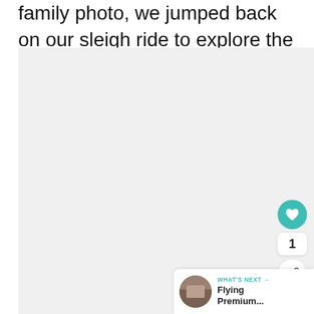family photo, we jumped back on our sleigh ride to explore the rest of the activities.
[Figure (photo): A large light gray placeholder image area occupying most of the page below the text, representing a photograph]
[Figure (illustration): UI overlay elements: a teal heart/like button, a like count showing '1', a share button, and a 'WHAT'S NEXT' callout with thumbnail showing 'Flying Premium...']